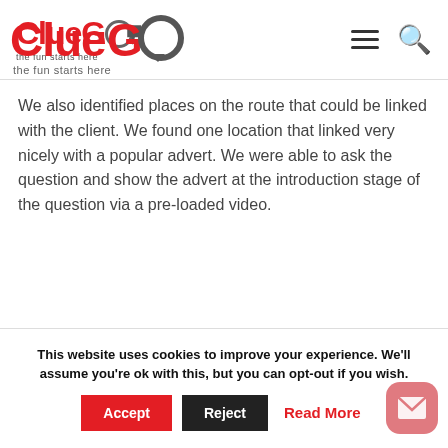[Figure (logo): ClueGo logo with red text 'ClueGo' and speech bubble, tagline 'the fun starts here']
We also identified places on the route that could be linked with the client. We found one location that linked very nicely with a popular advert. We were able to ask the question and show the advert at the introduction stage of the question via a pre-loaded video.
This website uses cookies to improve your experience. We'll assume you're ok with this, but you can opt-out if you wish.